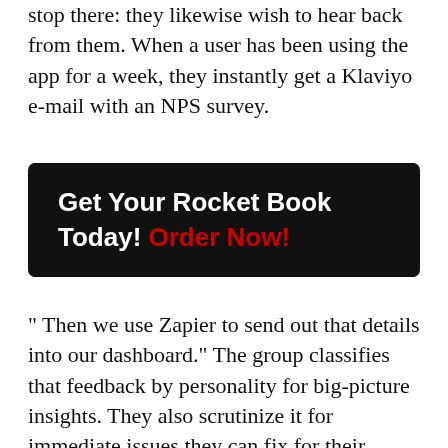stop there: they likewise wish to hear back from them. When a user has been using the app for a week, they instantly get a Klaviyo e-mail with an NPS survey.
[Figure (other): Black banner with white and red bold text: 'Get Your Rocket Book Today! Order Now!']
" Then we use Zapier to send out that details into our dashboard." The group classifies that feedback by personality for big-picture insights. They also scrutinize it for immediate issues they can fix for their consumers. "We'll see individuals say, 'I don't think I got a pen in the package.' Then we say, 'Darn it! We require to repair that problem